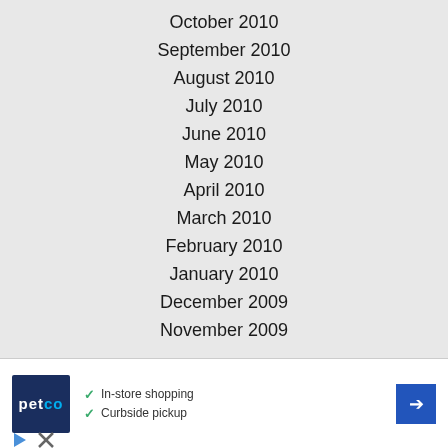October 2010
September 2010
August 2010
July 2010
June 2010
May 2010
April 2010
March 2010
February 2010
January 2010
December 2009
November 2009
[Figure (advertisement): Petco advertisement showing logo with In-store shopping and Curbside pickup options]